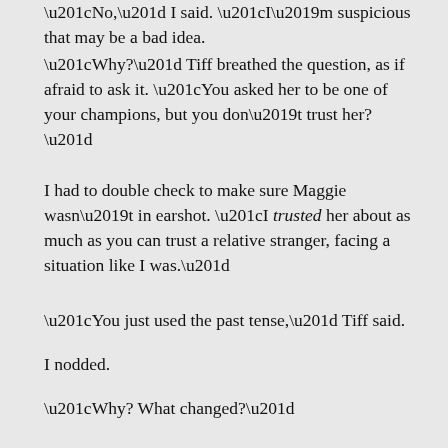“No,” I said. “I’m suspicious that may be a bad idea.
“Why?” Tiff breathed the question, as if afraid to ask it. “You asked her to be one of your champions, but you don’t trust her?”
I had to double check to make sure Maggie wasn’t in earshot. “I trusted her about as much as you can trust a relative stranger, facing a situation like I was.”
“You just used the past tense,” Tiff said.
I nodded.
“Why?  What changed?”
“She did,” I said.  “Maggie did.  Something’s happened since I left Jacob’s Bell.”